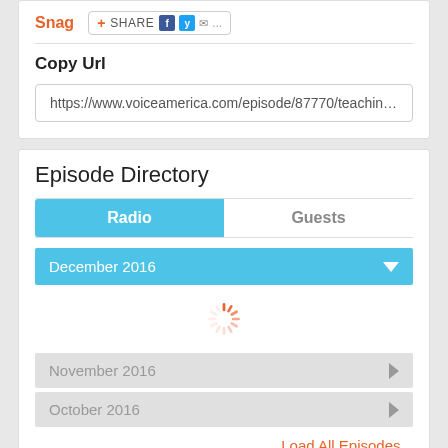Snag
SHARE
Copy Url
https://www.voiceamerica.com/episode/87770/teaching-fi
Episode Directory
Radio
Guests
December 2016
November 2016
October 2016
Load All Episodes...